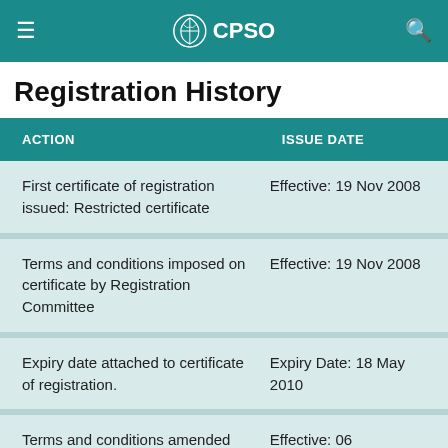CPSO
Registration History
| ACTION | ISSUE DATE |
| --- | --- |
| First certificate of registration issued: Restricted certificate | Effective: 19 Nov 2008 |
| Terms and conditions imposed on certificate by Registration Committee | Effective: 19 Nov 2008 |
| Expiry date attached to certificate of registration. | Expiry Date: 18 May 2010 |
| Terms and conditions amended | Effective: 06 |